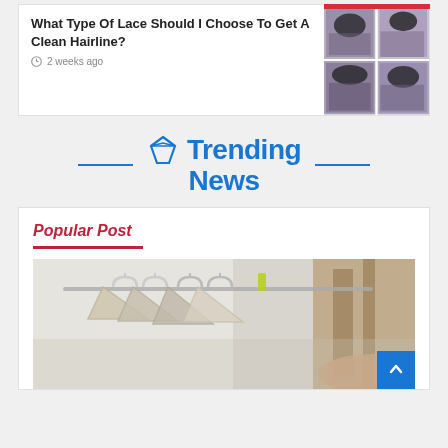[Figure (photo): Article thumbnail showing four photos of women's hairlines/hairstyles arranged in a 2x2 grid collage]
What Type Of Lace Should I Choose To Get A Clean Hairline?
2 weeks ago
Trending News
Popular Post
[Figure (photo): Photo of clothing hangers with garments in a closet or clothing store, blurred background]